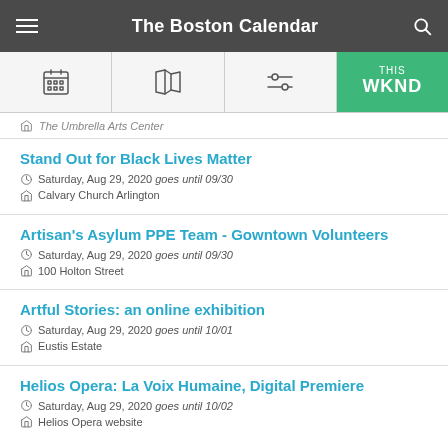The Boston Calendar
The Umbrella Arts Center
Stand Out for Black Lives Matter
Saturday, Aug 29, 2020 goes until 09/30
Calvary Church Arlington
Artisan's Asylum PPE Team - Gowntown Volunteers
Saturday, Aug 29, 2020 goes until 09/30
100 Holton Street
Artful Stories: an online exhibition
Saturday, Aug 29, 2020 goes until 10/01
Eustis Estate
Helios Opera: La Voix Humaine, Digital Premiere
Saturday, Aug 29, 2020 goes until 10/02
Helios Opera website